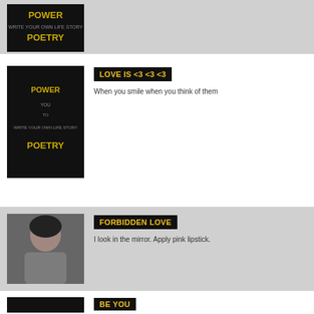[Figure (photo): Partial view of a Power of Poetry book cover on dark background, top card (gray background, cropped at top)]
[Figure (photo): Power of Poetry book cover on dark background]
LOVE IS <3 <3 <3
When you smile when you think of them
[Figure (photo): Photo of a young woman with dark hair, wearing a striped top and necklace, smiling]
FORBIDDEN LOVE
I look in the mirror. Apply pink lipstick.
[Figure (photo): Partially visible Power of Poetry book cover at bottom]
BE YOU